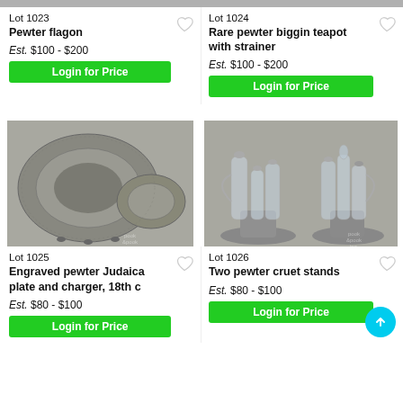[Figure (photo): Top gray image strip for Lot 1023]
[Figure (photo): Top gray image strip for Lot 1024]
Lot 1023
Pewter flagon
Lot 1024
Rare pewter biggin teapot with strainer
Est.  $100 - $200
Est.  $100 - $200
Login for Price
Login for Price
[Figure (photo): Engraved pewter Judaica plate and charger, two pewter plates of different sizes on gray background]
[Figure (photo): Two pewter cruet stands with glass bottles and shakers on gray background]
Lot 1025
Engraved pewter Judaica plate and charger, 18th c
Lot 1026
Two pewter cruet stands
Est.  $80 - $100
Est.  $80 - $100
Login for Price
Login for Price